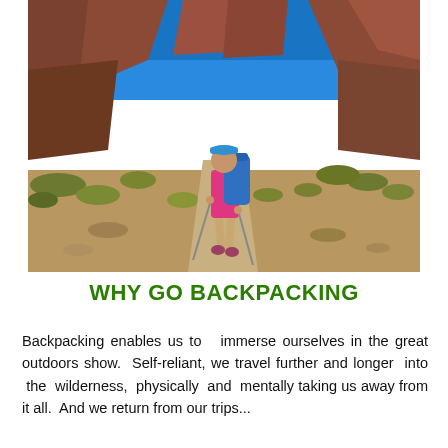[Figure (photo): A hiker wearing a pink shirt, blue cap, and carrying a large blue backpack stands on a rocky trail in a desert canyon. The canyon has red rock walls and a bright blue sky. Desert scrub vegetation surrounds the trail.]
WHY GO BACKPACKING
Backpacking enables us to  immerse ourselves in the great outdoors show.  Self-reliant, we travel further and longer  into  the  wilderness,  physically  and  mentally taking us away from it all.  And we return from our trips...